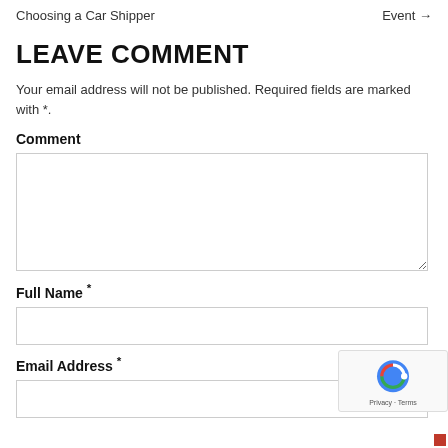Choosing a Car Shipper    Event →
LEAVE COMMENT
Your email address will not be published. Required fields are marked with *.
Comment
Full Name *
Email Address *